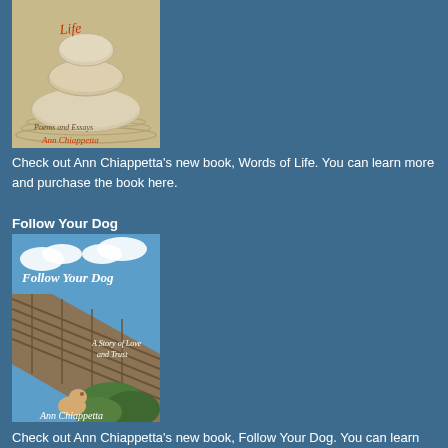[Figure (illustration): Book cover of 'Words of Life: Poems and Essays' by Ann Chiappetta, featuring stacked zen stones on sand]
Check out Ann Chiappetta's new book, Words of Life. You can learn more and purchase the book here.
Follow Your Dog
[Figure (illustration): Book cover of 'Follow Your Dog: A Story of Love and Trust' by Ann Chiappetta, featuring a dog looking up at a wooden boardwalk with blue sky]
Check out Ann Chiappetta's new book, Follow Your Dog. You can learn more and purchase the book here.